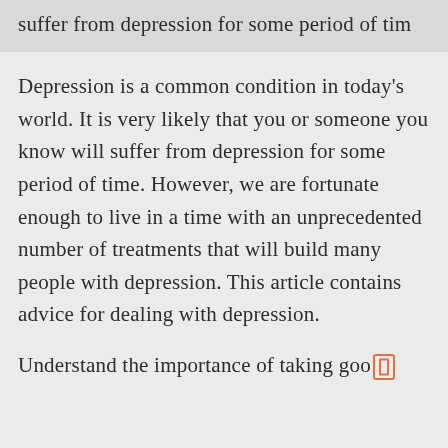suffer from depression for some period of tim
Depression is a common condition in today's world. It is very likely that you or someone you know will suffer from depression for some period of time. However, we are fortunate enough to live in a time with an unprecedented number of treatments that will build many people with depression. This article contains advice for dealing with depression.
Understand the importance of taking goo